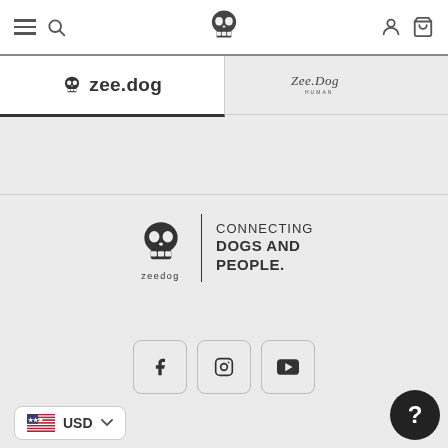[Figure (screenshot): Zee.dog e-commerce website screenshot showing navigation bar with hamburger menu, search icon, skull logo centered, user and cart icons on right]
[Figure (logo): Zee.dog brand tab (left, active) and Zee.Dog Human brand tab (right) navigation tabs]
[Figure (logo): Zee.dog skull logo with tagline 'CONNECTING DOGS AND PEOPLE.' and social media icons for Facebook, Instagram, YouTube]
USD
[Figure (other): Help/question mark button (dark circle with ? symbol) in bottom right corner]